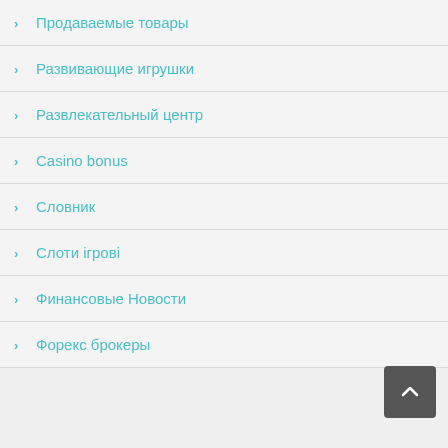Продаваемые товары
Развивающие игрушки
Развлекательный центр
Casino bonus
Словник
Слоти ігрові
Финансовые Новости
Форекс брокеры